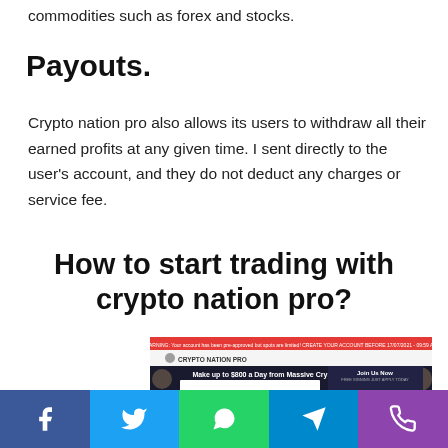commodities such as forex and stocks.
Payouts.
Crypto nation pro also allows its users to withdraw all their earned profits at any given time. I sent directly to the user’s account, and they do not deduct any charges or service fee.
How to start trading with crypto nation pro?
[Figure (screenshot): Screenshot of Crypto Nation Pro website showing 'Make up to $800 a Day from Massive Cryptocurrency Surge' with a registration form and Get Started Now button]
Social share bar with Facebook, Twitter, WhatsApp, Telegram, Phone icons